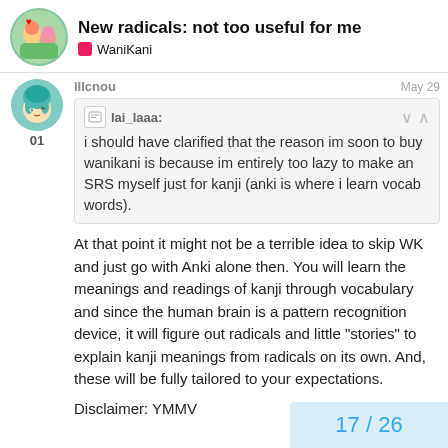New radicals: not too useful for me — WaniKani
lIIcnou — May 29
lai_laaa: i should have clarified that the reason im soon to buy wanikani is because im entirely too lazy to make an SRS myself just for kanji (anki is where i learn vocab words).
At that point it might not be a terrible idea to skip WK and just go with Anki alone then. You will learn the meanings and readings of kanji through vocabulary and since the human brain is a pattern recognition device, it will figure out radicals and little “stories” to explain kanji meanings from radicals on its own. And, these will be fully tailored to your expectations.
Disclaimer: YMMV
17 / 26